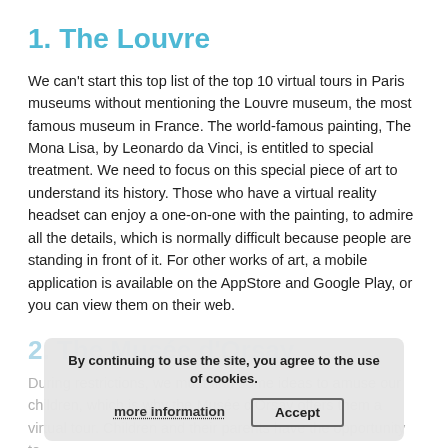1. The Louvre
We can't start this top list of the top 10 virtual tours in Paris museums without mentioning the Louvre museum, the most famous museum in France. The world-famous painting, The Mona Lisa, by Leonardo da Vinci, is entitled to special treatment. We need to focus on this special piece of art to understand its history. Those who have a virtual reality headset can enjoy a one-on-one with the painting, to admire all the details, which is normally difficult because people are standing in front of it. For other works of art, a mobile application is available on the AppStore and Google Play, or you can view them on their web.
2. The Musée d'Orsay
During restrictions, we must find some ideas to amuse our children, which is why the Musée d'Orsay offers them a virtual tour. Children and their parents have the opportunity to